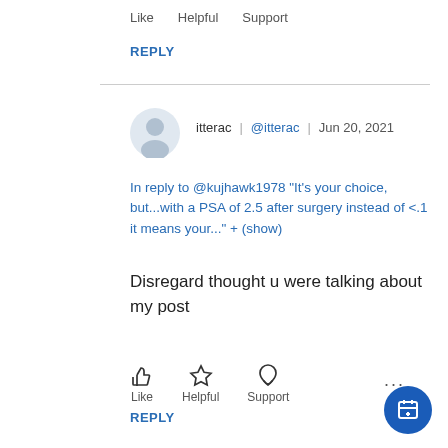Like   Helpful   Support
REPLY
itterac | @itterac | Jun 20, 2021
In reply to @kujhawk1978 "It's your choice, but...with a PSA of 2.5 after surgery instead of <.1 it means your..." + (show)
Disregard thought u were talking about my post
Like   Helpful   Support
REPLY